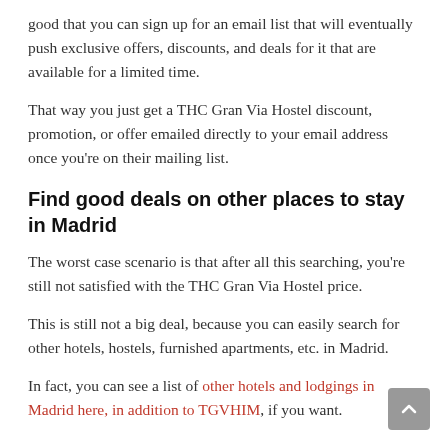good that you can sign up for an email list that will eventually push exclusive offers, discounts, and deals for it that are available for a limited time.
That way you just get a THC Gran Via Hostel discount, promotion, or offer emailed directly to your email address once you're on their mailing list.
Find good deals on other places to stay in Madrid
The worst case scenario is that after all this searching, you're still not satisfied with the THC Gran Via Hostel price.
This is still not a big deal, because you can easily search for other hotels, hostels, furnished apartments, etc. in Madrid.
In fact, you can see a list of other hotels and lodgings in Madrid here, in addition to TGVHIM, if you want.